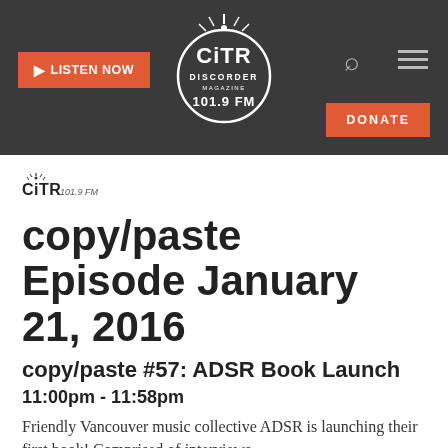LISTEN NOW | CiTR Discorder 101.9 FM | DONATE
[Figure (logo): CiTR Discorder 101.9 FM circular logo in white on dark background]
[Figure (logo): CiTR 101.9 FM small logo]
copy/paste Episode January 21, 2016
copy/paste #57: ADSR Book Launch
11:00pm - 11:58pm
Friendly Vancouver music collective ADSR is launching their first book! Comprised of interviews